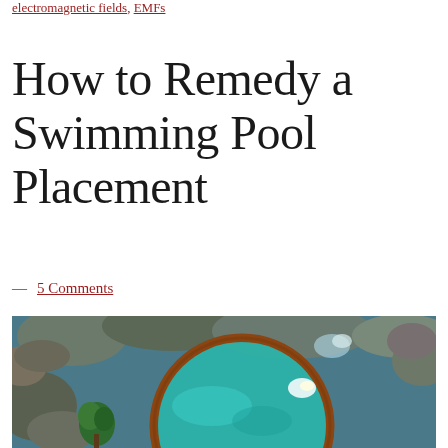electromagnetic fields, EMFs
How to Remedy a Swimming Pool Placement
— 5 Comments
[Figure (photo): Aerial view of a circular swimming pool with turquoise water, surrounded by rocks and a small tree, viewed from above with a copper or rust-colored rim.]